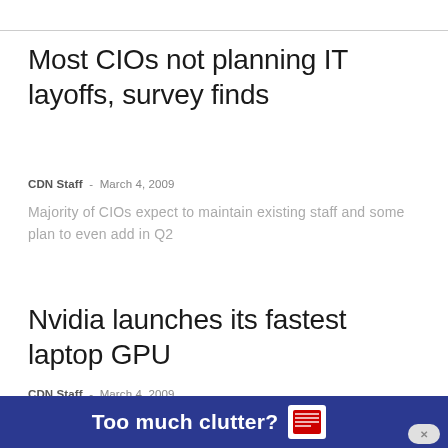Most CIOs not planning IT layoffs, survey finds
CDN Staff - March 4, 2009
Majority of CIOs expect to maintain existing staff and some plan to even add in Q2
Nvidia launches its fastest laptop GPU
CDN Staff - March 4, 2009
GeForce GTX 280M aimed at gaming enthusiasts and
[Figure (infographic): Dark blue ad banner at bottom reading 'Too much clutter?' with a newspaper icon and a close button]